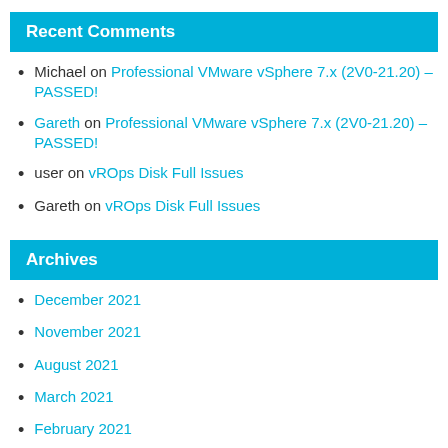Recent Comments
Michael on Professional VMware vSphere 7.x (2V0-21.20) – PASSED!
Gareth on Professional VMware vSphere 7.x (2V0-21.20) – PASSED!
user on vROps Disk Full Issues
Gareth on vROps Disk Full Issues
Archives
December 2021
November 2021
August 2021
March 2021
February 2021